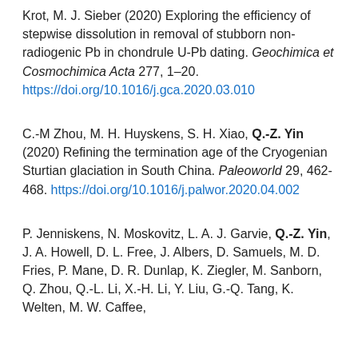Krot, M. J. Sieber (2020) Exploring the efficiency of stepwise dissolution in removal of stubborn non-radiogenic Pb in chondrule U-Pb dating. Geochimica et Cosmochimica Acta 277, 1–20. https://doi.org/10.1016/j.gca.2020.03.010
C.-M Zhou, M. H. Huyskens, S. H. Xiao, Q.-Z. Yin (2020) Refining the termination age of the Cryogenian Sturtian glaciation in South China. Paleoworld 29, 462-468. https://doi.org/10.1016/j.palwor.2020.04.002
P. Jenniskens, N. Moskovitz, L. A. J. Garvie, Q.-Z. Yin, J. A. Howell, D. L. Free, J. Albers, D. Samuels, M. D. Fries, P. Mane, D. R. Dunlap, K. Ziegler, M. Sanborn, Q. Zhou, Q.-L. Li, X.-H. Li, Y. Liu, G.-Q. Tang, K. Welten, M. W. Caffee,